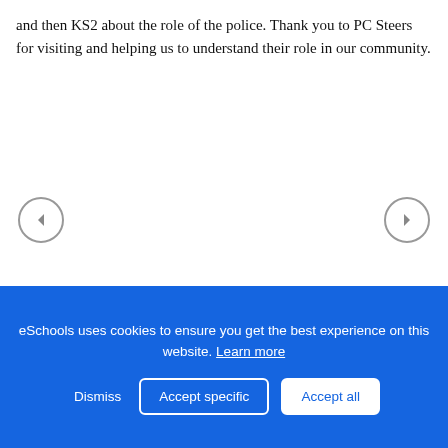and then KS2 about the role of the police. Thank you to PC Steers for visiting and helping us to understand their role in our community.
[Figure (screenshot): Navigation arrows (left and right) for a photo gallery carousel, shown on a white background]
eSchools uses cookies to ensure you get the best experience on this website. Learn more